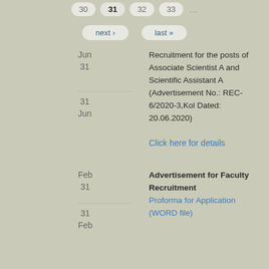30  31  32  33  ...  next ›  last »
Jun 31 — Recruitment for the posts of Associate Scientist A and Scientific Assistant A (Advertisement No.: REC-6/2020-3,Kol Dated: 20.06.2020) Click here for details
Feb 31 — Advertisement for Faculty Recruitment
Proforma for Application (WORD file)